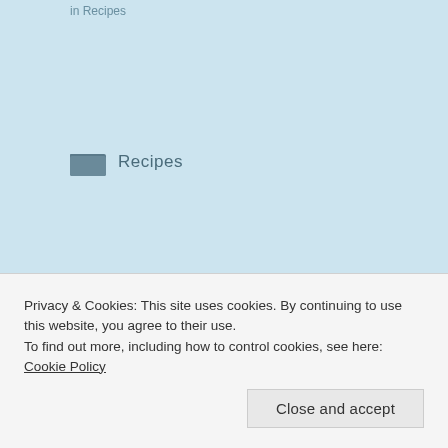in Recipes
Recipes
HEALTHY
RECIPE
SOURDOUGH
WHOLE WHEAT
Privacy & Cookies: This site uses cookies. By continuing to use this website, you agree to their use.
To find out more, including how to control cookies, see here: Cookie Policy
Close and accept